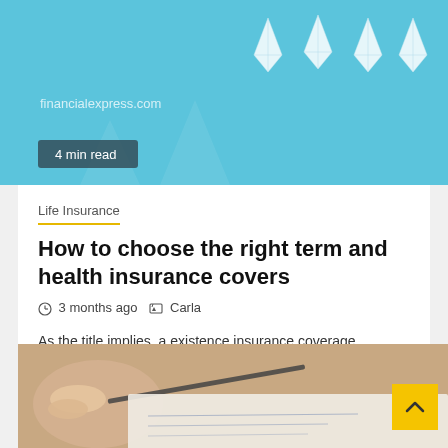[Figure (photo): Hero image with light blue background, paper boat/diamond shapes decorations and watermark text 'financialexpress.com', with a '4 min read' badge overlay]
4 min read
Life Insurance
How to choose the right term and health insurance covers
3 months ago   Carla
As the title implies, a existence insurance coverage provides protection for a specified period of time or a specified 'term'....
[Figure (photo): Close-up photo of a hand holding a pen over a document/paper with text, blurred background]